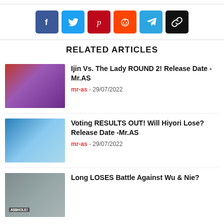[Figure (infographic): Social share buttons: Facebook (blue), Twitter (cyan), Pinterest (red), Reddit (orange), Telegram (light blue), Link/copy (black)]
RELATED ARTICLES
[Figure (photo): Anime character with purple/lavender hair, looking sideways]
Ijin Vs. The Lady ROUND 2! Release Date -Mr.AS
mr-as - 29/07/2022
[Figure (photo): Three anime girl characters with brown hair and blue eyes]
Voting RESULTS OUT! Will Hiyori Lose? Release Date -Mr.AS
mr-as - 29/07/2022
[Figure (photo): Screenshot with 'ASSHOLE' text visible, dark tones]
Long LOSES Battle Against Wu & Nie?